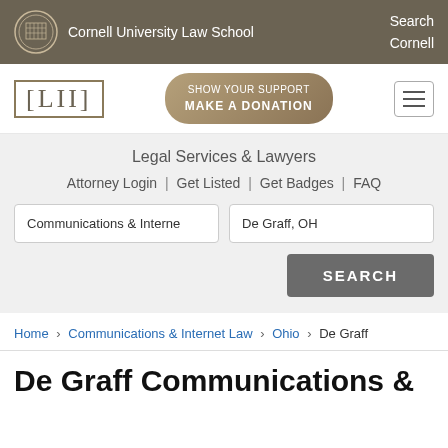Cornell University Law School | Search Cornell
[Figure (logo): LII logo with [LII] brackets and Show Your Support Make A Donation button]
Legal Services & Lawyers
Attorney Login | Get Listed | Get Badges | FAQ
Communications & Interne | De Graff, OH [search inputs] SEARCH
Home › Communications & Internet Law › Ohio › De Graff
De Graff Communications &